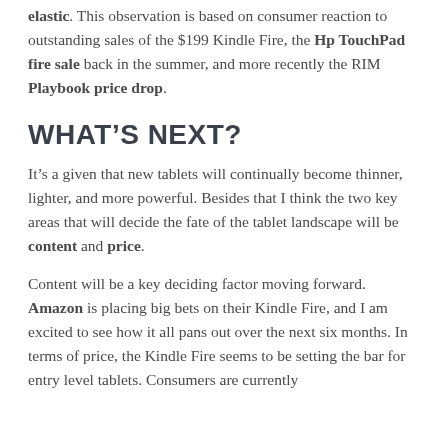elastic. This observation is based on consumer reaction to outstanding sales of the $199 Kindle Fire, the Hp TouchPad fire sale back in the summer, and more recently the RIM Playbook price drop.
WHAT'S NEXT?
It’s a given that new tablets will continually become thinner, lighter, and more powerful. Besides that I think the two key areas that will decide the fate of the tablet landscape will be content and price.
Content will be a key deciding factor moving forward. Amazon is placing big bets on their Kindle Fire, and I am excited to see how it all pans out over the next six months. In terms of price, the Kindle Fire seems to be setting the bar for entry level tablets. Consumers are currently